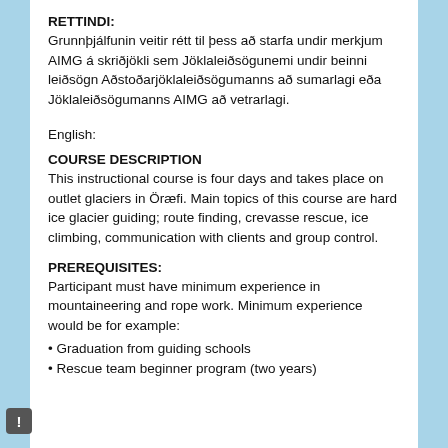RETTINDI:
Grunnþjálfunin veitir rétt til þess að starfa undir merkjum AIMG á skriðjökli sem Jöklaleiðsögunemi undir beinni leiðsögn Aðstoðarjöklaleiðsögumanns að sumarlagi eða Jöklaleiðsögumanns AIMG að vetrarlagi.
English:
COURSE DESCRIPTION
This instructional course is four days and takes place on outlet glaciers in Öræfi. Main topics of this course are hard ice glacier guiding; route finding, crevasse rescue, ice climbing, communication with clients and group control.
PREREQUISITES:
Participant must have minimum experience in mountaineering and rope work. Minimum experience would be for example:
• Graduation from guiding schools
• Rescue team beginner program (two years)